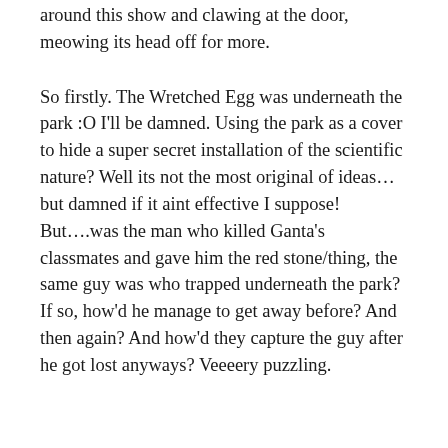being provided to us, my curiosity is shifted around this show and clawing at the door, meowing its head off for more.
So firstly. The Wretched Egg was underneath the park :O I'll be damned. Using the park as a cover to hide a super secret installation of the scientific nature? Well its not the most original of ideas…but damned if it aint effective I suppose! But….was the man who killed Ganta's classmates and gave him the red stone/thing, the same guy was who trapped underneath the park? If so, how'd he manage to get away before? And then again? And how'd they capture the guy after he got lost anyways? Veeeery puzzling.